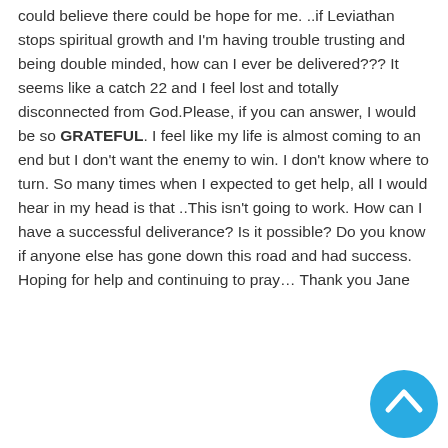could believe there could be hope for me. ..if Leviathan stops spiritual growth and I'm having trouble trusting and being double minded, how can I ever be delivered??? It seems like a catch 22 and I feel lost and totally disconnected from God.Please, if you can answer, I would be so GRATEFUL. I feel like my life is almost coming to an end but I don't want the enemy to win. I don't know where to turn. So many times when I expected to get help, all I would hear in my head is that ..This isn't going to work. How can I have a successful deliverance? Is it possible? Do you know if anyone else has gone down this road and had success. Hoping for help and continuing to pray… Thank you Jane
Reply
[Figure (illustration): Default user avatar: grey circle head and body silhouette on light grey background]
admin
July 1, 2018 at 6:01 pm
Yes we have seen thousands around the world set free. You can watch my deliverance videos and then if you still need more individual attention you